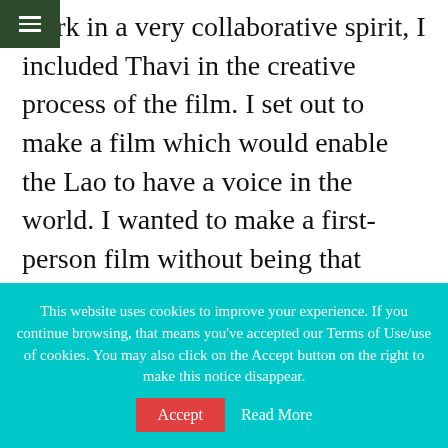work in a very collaborative spirit, I included Thavi in the creative process of the film. I set out to make a film which would enable the Lao to have a voice in the world. I wanted to make a first-person film without being that person. What has emerged in this film is a piece in which both of our voices are heard, seen and felt – a dialogue, which mirrors the many conversations that we've shared over the years about life, death, and philosophy.
This website uses cookies to improve your experience. If you continue browsing, that means you've accepted our Terms of Use/use of cookies. You may also click on the Accept button on the right to make this notice disappear.